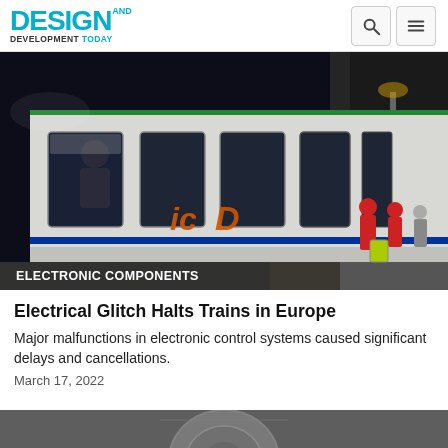DESIGN AND DEVELOPMENT TODAY
[Figure (photo): Night-time photo of a white intercity passenger train (IC logo visible on side) at a station platform, with a person visible through the window and passengers with luggage on the platform.]
ELECTRONIC COMPONENTS
Electrical Glitch Halts Trains in Europe
Major malfunctions in electronic control systems caused significant delays and cancellations.
March 17, 2022
[Figure (photo): Partial bottom teaser image, cropped, appears to show a circular mechanical or electronic component.]